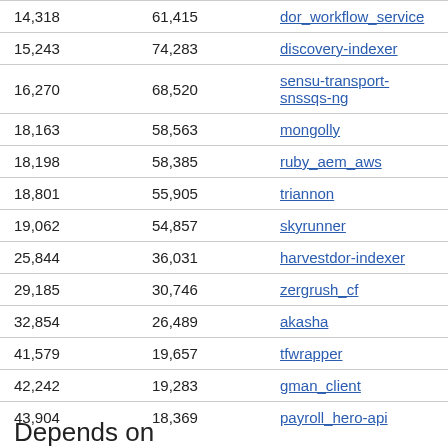|  |  |  |
| --- | --- | --- |
| 14,318 | 61,415 | dor_workflow_service |
| 15,243 | 74,283 | discovery-indexer |
| 16,270 | 68,520 | sensu-transport-snssqs-ng |
| 18,163 | 58,563 | mongolly |
| 18,198 | 58,385 | ruby_aem_aws |
| 18,801 | 55,905 | triannon |
| 19,062 | 54,857 | skyrunner |
| 25,844 | 36,031 | harvestdor-indexer |
| 29,185 | 30,746 | zergrush_cf |
| 32,854 | 26,489 | akasha |
| 41,579 | 19,657 | tfwrapper |
| 42,242 | 19,283 | gman_client |
| 43,904 | 18,369 | payroll_hero-api |
Depends on